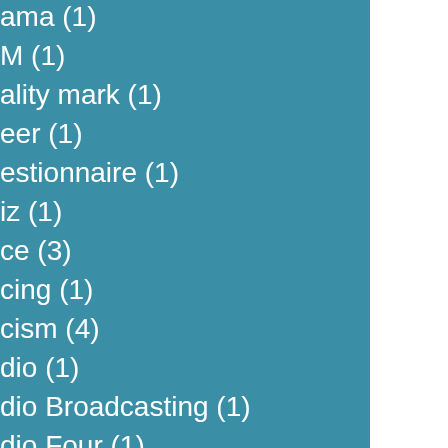ama (1)
M (1)
ality mark (1)
eer (1)
estionnaire (1)
iz (1)
ce (3)
cing (1)
cism (4)
dio (1)
dio Broadcasting (1)
dio Four (1)
il (3)
l travel (1)